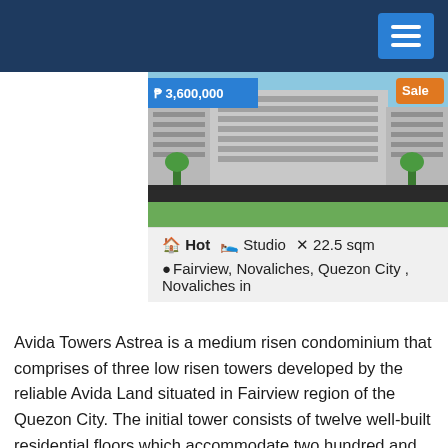Navigation bar with hamburger menu
[Figure (photo): Exterior photo of Avida Towers Astrea condominium building with green lawn and blue sky]
₱ 3,600,000
Sale
🏠 Hot  🛏 Studio  ✕ 22.5 sqm
📍Fairview, Novaliches, Quezon City , Novaliches in
Avida Towers Astrea is a medium risen condominium that comprises of three low risen towers developed by the reliable Avida Land situated in Fairview region of the Quezon City. The initial tower consists of twelve well-built residential floors which accommodate two hundred and ninety-six units. These units are modernly designed with contemporary designing to offer uniqueness to the residents. Avida Towers Astrea is a property well suited for all the family sizes ranging from the individuals to the huge families of 5-6 members or even more.